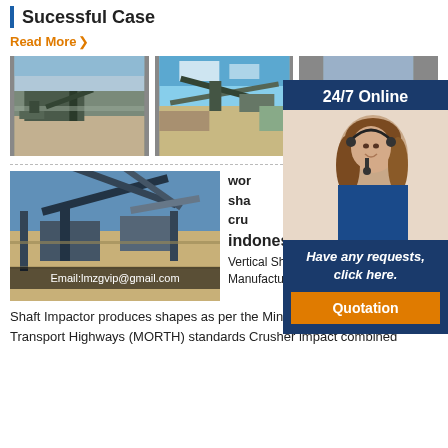Sucessful Case
Read More >
[Figure (photo): Aerial view of a stone crushing plant with conveyors and machinery]
[Figure (photo): Stone crushing plant with conveyor belts and equipment near trees]
[Figure (photo): Industrial quarry machinery partial view]
[Figure (photo): Large industrial conveyor and crushing plant under blue sky with email overlay: Email:lmzgvip@gmail.com]
indonesia
Vertical Shaft Impactor Crusher Manufacturer Propel. Propel Vertical Shaft Impactor produces shapes as per the Ministry of Road Transport Highways (MORTH) standards Crusher impact combined
[Figure (photo): 24/7 Online support panel with woman wearing headset and contact details: Have any requests, click here. Quotation button.]